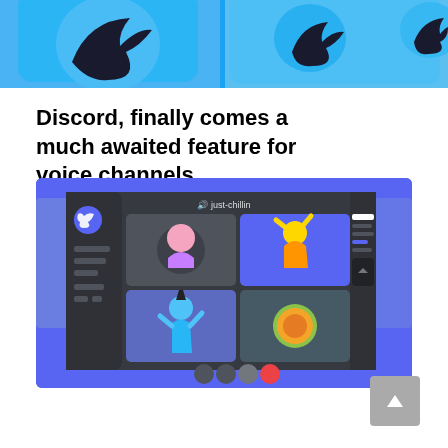[Figure (photo): Twitter bird logos on blue background tiles, cropped at top]
Discord, finally comes a much awaited feature for voice channels
[Figure (screenshot): Discord video call interface showing 4 video tiles with avatars/characters in a dark UI with purple background, with a right sidebar panel and call controls at bottom]